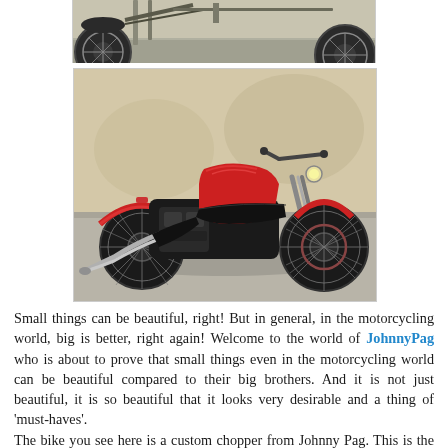[Figure (photo): Partial view of a motorcycle rear wheel and frame — top of page, cropped]
[Figure (photo): Red and black custom chopper motorcycle (JohnnyPag Pro Street) photographed from the side on a paved surface]
Small things can be beautiful, right! But in general, in the motorcycling world, big is better, right again! Welcome to the world of JohnnyPag who is about to prove that small things even in the motorcycling world can be beautiful compared to their big brothers. And it is not just beautiful, it is so beautiful that it looks very desirable and a thing of 'must-haves'.
The bike you see here is a custom chopper from Johnny Pag. This is the Pro Street. And contrary to our belief, Johnny knows that a chopper is a chopper and he also knows that neither is it official nor one has ever mentioned or